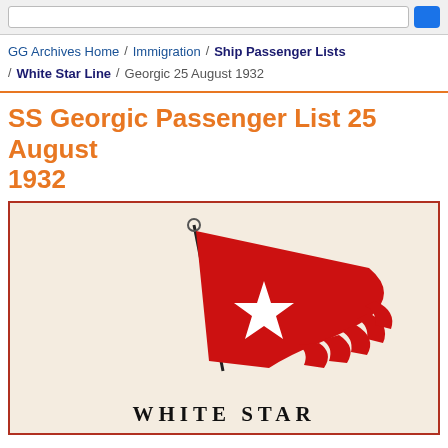GG Archives Home / Immigration / Ship Passenger Lists / White Star Line / Georgic 25 August 1932
SS Georgic Passenger List 25 August 1932
[Figure (illustration): White Star Line pennant flag — red burgee with white star in center, on a diagonal mast. Below the flag: text 'WHITE STAR' in bold serif capitals.]